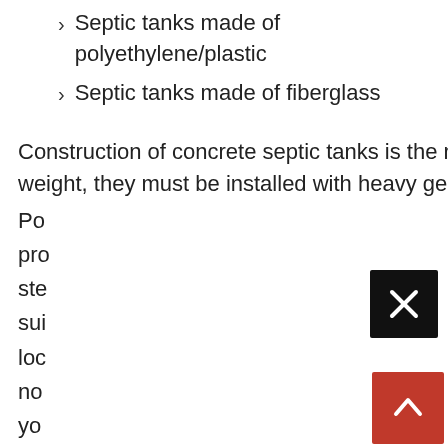Septic tanks made of polyethylene/plastic
Septic tanks made of fiberglass
Construction of concrete septic tanks is the most popular, but because of their weight, they must be installed with heavy gear. Po... pro... ste... sui... loc... no... ith you... : law... wa...